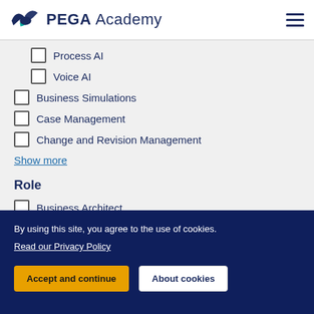PEGA Academy
Process AI
Voice AI
Business Simulations
Case Management
Change and Revision Management
Show more
Role
Business Architect
Practice Manager
Robotics System Architect
By using this site, you agree to the use of cookies. Read our Privacy Policy
Accept and continue
About cookies